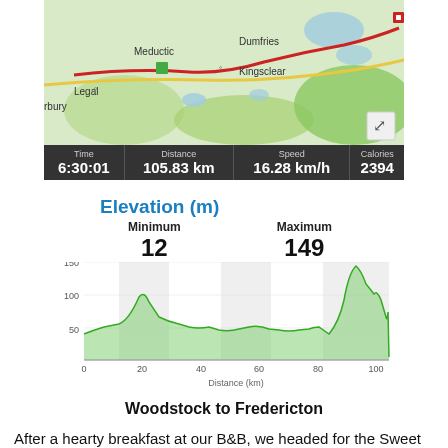[Figure (map): Route map showing cycling path from Woodstock to Fredericton, New Brunswick, with place names Meductic, Dumfries, Kingsclear, Legal, rbury visible and a red route line]
| Time | Distance | Speed | Calories |
| --- | --- | --- | --- |
| 6:30:01 | 105.83 km | 16.28 km/h | 2394 |
Elevation (m)
Minimum 12   Maximum 149
[Figure (area-chart): Elevation profile area chart showing terrain from 0 to ~105km, minimum 12m, maximum 149m, with green filled area and line]
Woodstock to Fredericton
After a hearty breakfast at our B&B, we headed for the Sweet